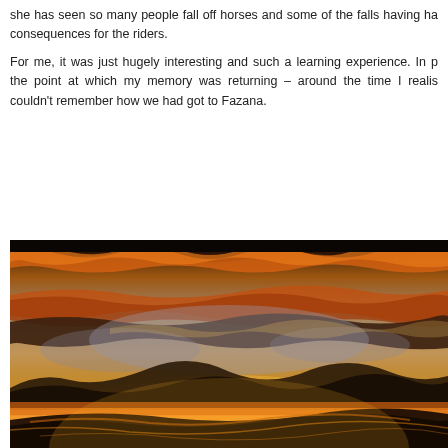she has seen so many people fall off horses and some of the falls having ha consequences for the riders.
For me, it was just hugely interesting and such a learning experience. In p the point at which my memory was returning – around the time I realis couldn't remember how we had got to Fazana.
[Figure (photo): A dramatic sunset sky photograph showing vivid orange, red, and golden clouds against a blue-grey sky, with dark silhouetted clouds in the foreground and warm glowing light on the horizon.]